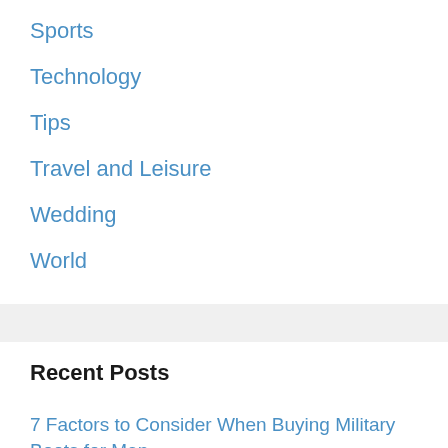Sports
Technology
Tips
Travel and Leisure
Wedding
World
Recent Posts
7 Factors to Consider When Buying Military Boots for Men
Plan a Fun Sports Party at Your Home
How to Improve Your Website Speed: 5